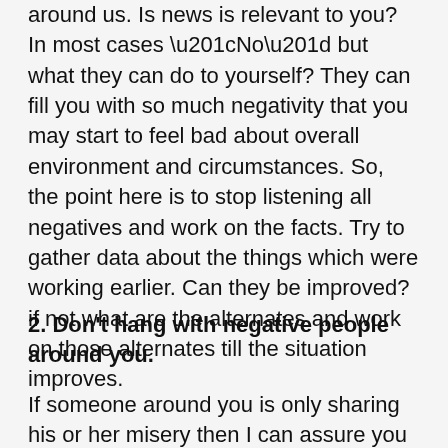around us. Is news is relevant to you? In most cases “No” but what they can do to yourself? They can fill you with so much negativity that you may start to feel bad about overall environment and circumstances. So, the point here is to stop listening all negatives and work on the facts. Try to gather data about the things which were working earlier. Can they be improved? if not what are the alternates and work on those alternates till the situation improves.
2. Don’t hang with negative people around you.
If someone around you is only sharing his or her misery then I can assure you that it will not take much of time then you’ll also start sharing your